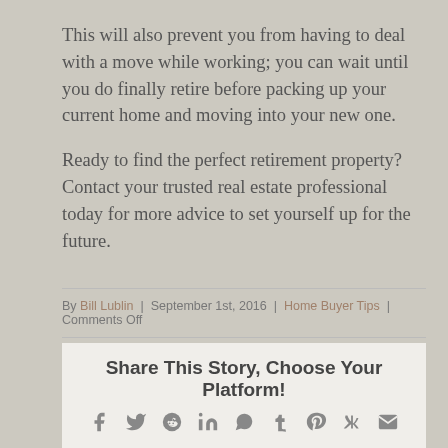This will also prevent you from having to deal with a move while working; you can wait until you do finally retire before packing up your current home and moving into your new one.
Ready to find the perfect retirement property? Contact your trusted real estate professional today for more advice to set yourself up for the future.
By Bill Lublin | September 1st, 2016 | Home Buyer Tips | Comments Off
Share This Story, Choose Your Platform!